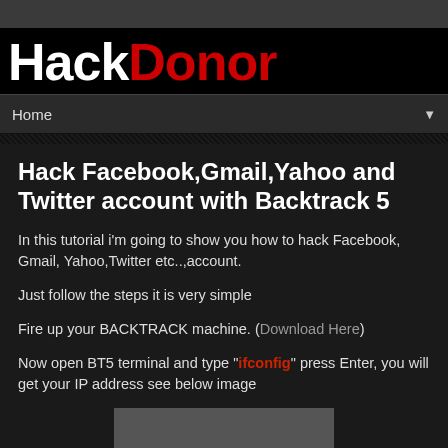[Figure (logo): HackDonor website logo — 'Hack' in white bold text and 'Donor' in red bold text on black background]
Home ▼
Hack Facebook,Gmail,Yahoo and Twitter account with Backtrack 5
In this tutorial i'm going to show you how to hack Facebook, Gmail, Yahoo,Twitter etc..,account.
Just follow the steps it is very simple
Fire up your BACKTRACK machine. (Download Here)
Now open BT5 terminal and type "ifconfig" press Enter, you will get your IP address see below image
[Figure (screenshot): Screenshot placeholder showing terminal output]